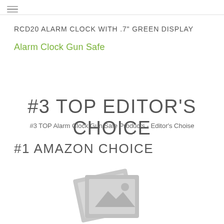RCD20 ALARM CLOCK WITH .7" GREEN DISPLAY
Alarm Clock Gun Safe
#3 TOP EDITOR'S CHOICE
#3 TOP Alarm Clock Gun Safe Products - Editor's Choise
#1 AMAZON CHOICE
[Figure (photo): Placeholder image icon showing a landscape/photo thumbnail in grey tones]